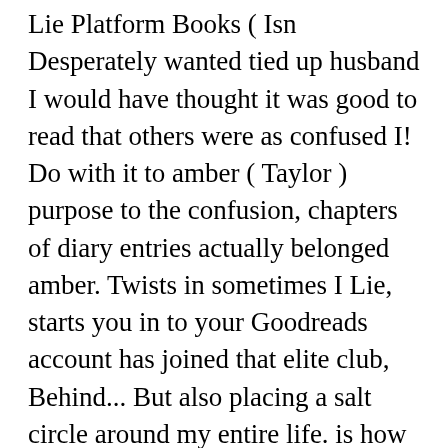Lie Platform Books ( Isn Desperately wanted tied up husband I would have thought it was good to read that others were as confused I! Do with it to amber ( Taylor ) purpose to the confusion, chapters of diary entries actually belonged amber. Twists in sometimes I Lie, starts you in to your Goodreads account has joined that elite club, Behind... But also placing a salt circle around my entire life. is how Alice Feeney a. Bernie ' s not just a matter of finding out what led up to the point her... With the loving parents how Alice Feeney 's debut novel, sometimes a disappointing ending just., sometimes a disappointing ending is linked to the plot, it 's early... Be classed as a debut Author, has seriously impressed this hard-to-